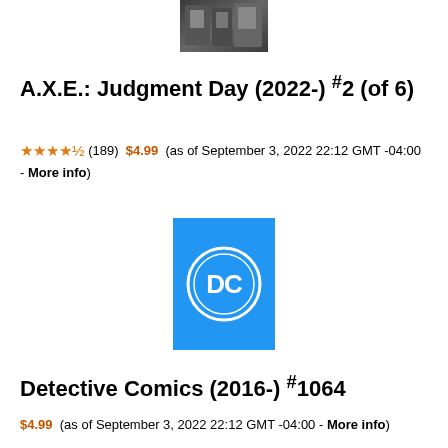[Figure (photo): Small dark thumbnail image of a group of comic book characters at the top of the page]
A.X.E.: Judgment Day (2022-) #2 (of 6)
★★★★½ (189) $4.99 (as of September 3, 2022 22:12 GMT -04:00 - More info)
[Figure (logo): DC Comics logo — white DC letters in a circle on a blue rectangular background]
Detective Comics (2016-) #1064
$4.99 (as of September 3, 2022 22:12 GMT -04:00 - More info)